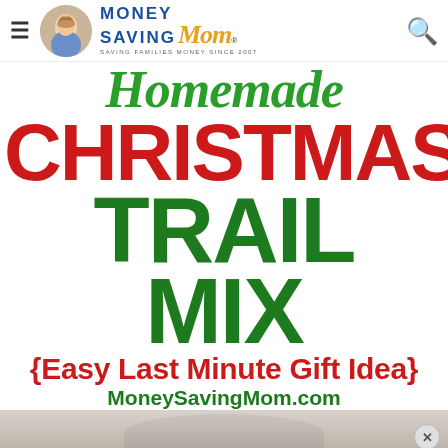Money Saving Mom — Saving Families Money Since 2007
Homemade CHRISTMAS TRAIL MIX {Easy Last Minute Gift Idea} MoneySavingMom.com
[Figure (photo): Bottom portion of a bowl or dish, photographed from above, on a light background]